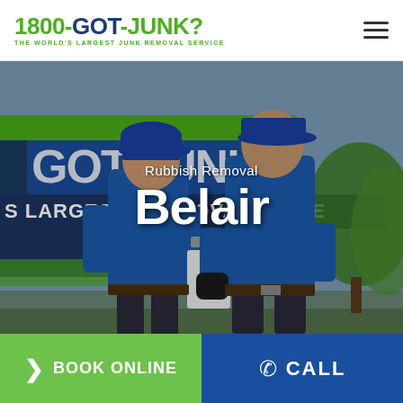[Figure (logo): 1800-GOT-JUNK? logo with tagline 'THE WORLD'S LARGEST JUNK REMOVAL SERVICE' in green and navy blue]
[Figure (photo): Two male employees in blue polo shirts and caps walking in front of a 1800-GOT-JUNK? branded truck, one carrying a clipboard]
Rubbish Removal
Belair
BOOK ONLINE
CALL